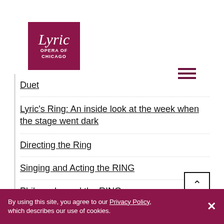[Figure (logo): Lyric Opera of Chicago logo — dark red/maroon square with italic white 'Lyric' above 'OPERA OF CHICAGO' in white sans-serif capitals]
[Figure (other): Hamburger menu icon — three horizontal dark red/maroon lines]
Duet
Lyric's Ring: An inside look at the week when the stage went dark
Directing the Ring
Singing and Acting the RING
Philosophy and the RING
Lyric Family Favorites: April 10
By using this site, you agree to our Privacy Policy, which describes our use of cookies.